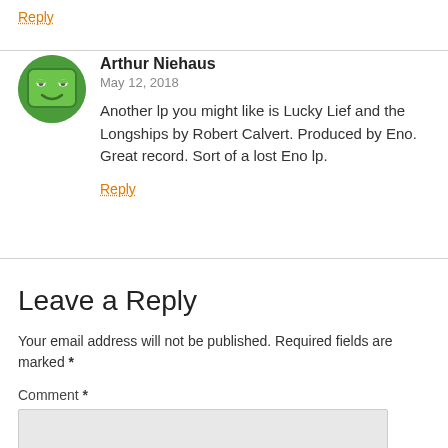Reply
Arthur Niehaus
May 12, 2018
Another lp you might like is Lucky Lief and the Longships by Robert Calvert. Produced by Eno. Great record. Sort of a lost Eno lp.
Reply
Leave a Reply
Your email address will not be published. Required fields are marked *
Comment *